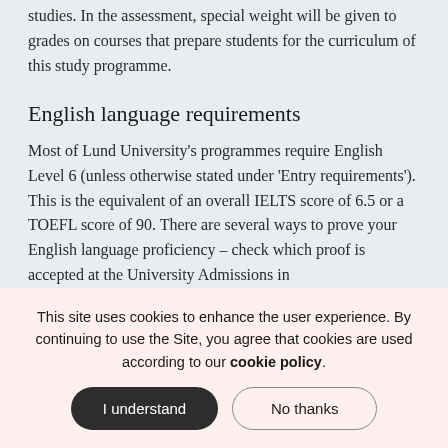studies. In the assessment, special weight will be given to grades on courses that prepare students for the curriculum of this study programme.
English language requirements
Most of Lund University's programmes require English Level 6 (unless otherwise stated under 'Entry requirements'). This is the equivalent of an overall IELTS score of 6.5 or a TOEFL score of 90. There are several ways to prove your English language proficiency – check which proof is accepted at the University Admissions in
This site uses cookies to enhance the user experience. By continuing to use the Site, you agree that cookies are used according to our cookie policy.